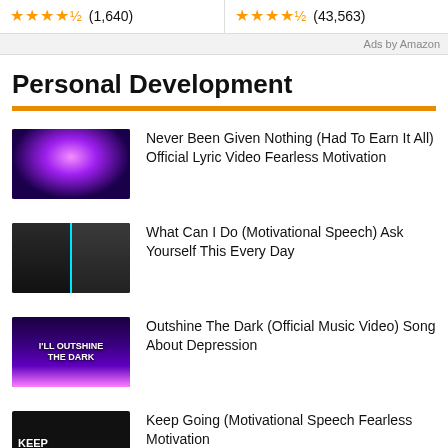★★★★½ (1,640)   ★★★★½ (43,563)
Ads by Amazon
Personal Development
Never Been Given Nothing (Had To Earn It All) Official Lyric Video Fearless Motivation
What Can I Do (Motivational Speech) Ask Yourself This Every Day
Outshine The Dark (Official Music Video) Song About Depression
Keep Going (Motivational Speech Fearless Motivation